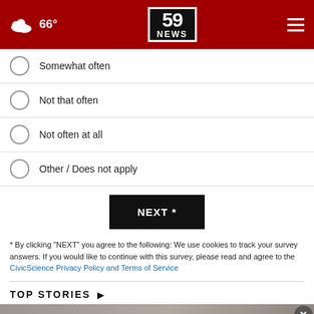66° | 59 NEWS
Somewhat often
Not that often
Not often at all
Other / Does not apply
NEXT *
* By clicking "NEXT" you agree to the following: We use cookies to track your survey answers. If you would like to continue with this survey, please read and agree to the CivicScience Privacy Policy and Terms of Service
TOP STORIES ▶
[Figure (screenshot): Video thumbnail with play button and Hair Cuttery advertisement banner at bottom]